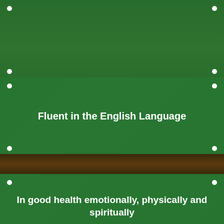[Figure (photo): Green banner/sign panels with white text on a dark background, likely school or community signage]
Fluent in the English Language
In good health emotionally, physically and spiritually